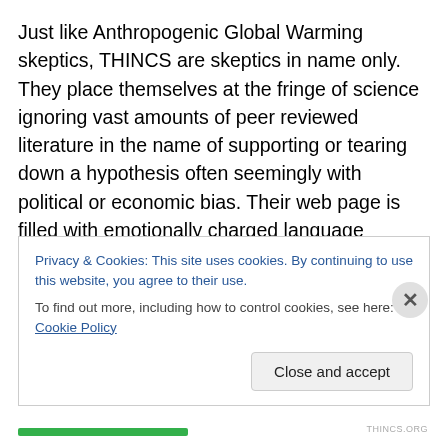Just like Anthropogenic Global Warming skeptics, THINCS are skeptics in name only. They place themselves at the fringe of science ignoring vast amounts of peer reviewed literature in the name of supporting or tearing down a hypothesis often seemingly with political or economic bias. Their web page is filled with emotionally charged language alleging a conspiracy to cover up the “truth”. The overreaction from the global warming alarmists or in this case health-nuts doesn’t help matters when they make
Privacy & Cookies: This site uses cookies. By continuing to use this website, you agree to their use.
To find out more, including how to control cookies, see here: Cookie Policy